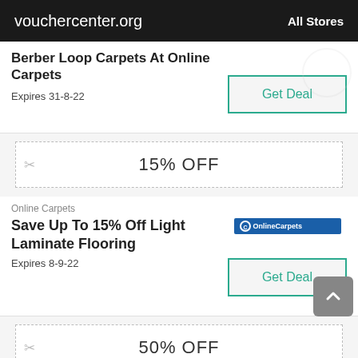vouchercenter.org   All Stores
Berber Loop Carpets At Online Carpets
Expires 31-8-22
Get Deal
[Figure (infographic): 15% OFF coupon strip with scissors icon and dashed border]
Online Carpets
Save Up To 15% Off Light Laminate Flooring
[Figure (logo): Online Carpets brand logo in blue]
Expires 8-9-22
Get Deal
[Figure (infographic): 50% OFF coupon strip with scissors icon and dashed border]
Online Carpets